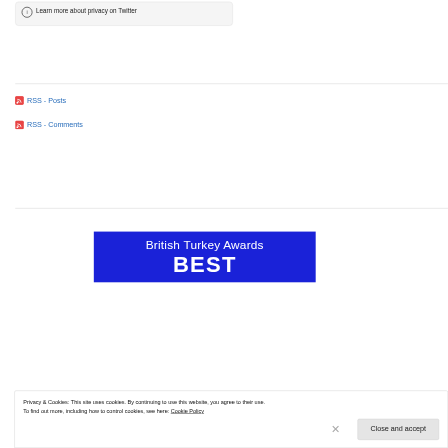(i) Learn more about privacy on Twitter
RSS - Posts
RSS - Comments
[Figure (illustration): British Turkey Awards banner with blue background showing 'British Turkey Awards' and 'BEST' in large white letters]
Privacy & Cookies: This site uses cookies. By continuing to use this website, you agree to their use.
To find out more, including how to control cookies, see here: Cookie Policy
Close and accept